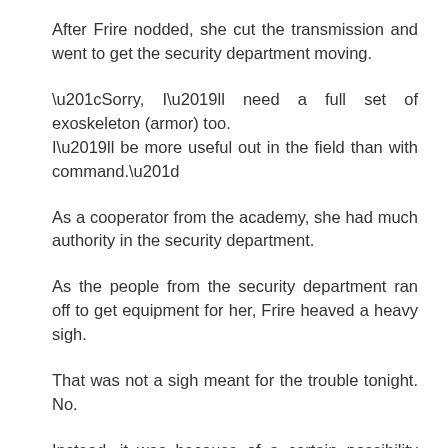After Frire nodded, she cut the transmission and went to get the security department moving.
“Sorry, I’ll need a full set of exoskeleton (armor) too. I’ll be more useful out in the field than with command.”
As a cooperator from the academy, she had much authority in the security department.
As the people from the security department ran off to get equipment for her, Frire heaved a heavy sigh.
That was not a sigh meant for the trouble tonight. No.
Instead, it was because of a certain possibility that worried her.